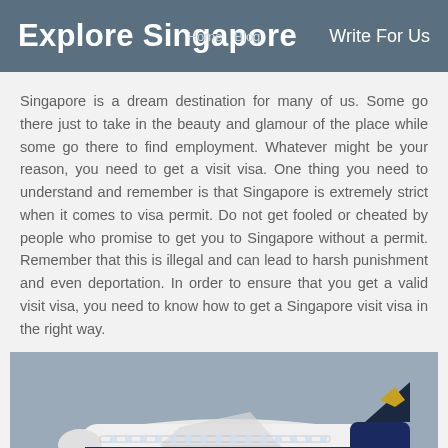Explore Singapore | Home | Blog | Write For Us
Singapore is a dream destination for many of us. Some go there just to take in the beauty and glamour of the place while some go there to find employment. Whatever might be your reason, you need to get a visit visa. One thing you need to understand and remember is that Singapore is extremely strict when it comes to visa permit. Do not get fooled or cheated by people who promise to get you to Singapore without a permit. Remember that this is illegal and can lead to harsh punishment and even deportation. In order to ensure that you get a valid visit visa, you need to know how to get a Singapore visit visa in the right way.
[Figure (photo): Singapore Airlines Boeing 747 airplane in flight against a grey sky, seen from the side, showing the white fuselage with 'SINGAPORE AIRLINES' text and the blue tail with gold crane logo.]